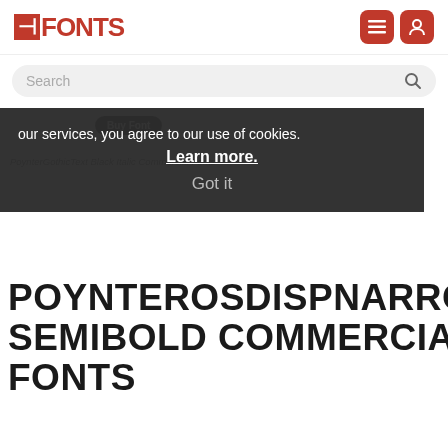FFONTS
Search
our services, you agree to our use of cookies. Learn more. Got it
PoynterGothicText Black Italic Commercial Fonts
POYNTEROSDISPNARROW SEMIBOLD COMMERCIAL FONTS